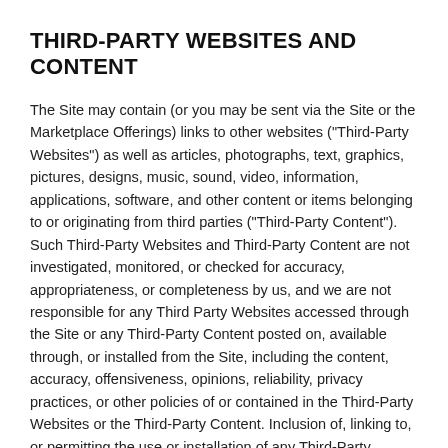THIRD-PARTY WEBSITES AND CONTENT
The Site may contain (or you may be sent via the Site or the Marketplace Offerings) links to other websites ("Third-Party Websites") as well as articles, photographs, text, graphics, pictures, designs, music, sound, video, information, applications, software, and other content or items belonging to or originating from third parties ("Third-Party Content"). Such Third-Party Websites and Third-Party Content are not investigated, monitored, or checked for accuracy, appropriateness, or completeness by us, and we are not responsible for any Third Party Websites accessed through the Site or any Third-Party Content posted on, available through, or installed from the Site, including the content, accuracy, offensiveness, opinions, reliability, privacy practices, or other policies of or contained in the Third-Party Websites or the Third-Party Content. Inclusion of, linking to, or permitting the use or installation of any Third-Party Websites or any Third-PartyContent does not imply approval or endorsement thereof by us. If you decide to leave the Site and access the Third-Party Websites or to use or install any Third-Party Content, you do so at your own risk,